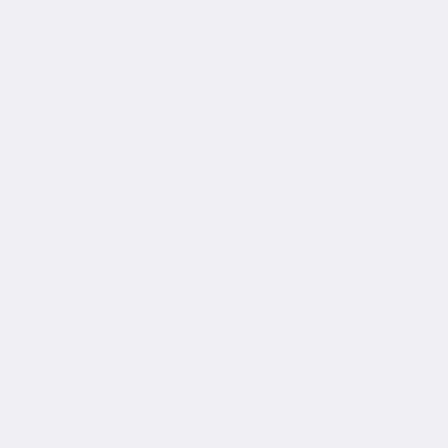Ferenc, híres versenyautójának volánjánál látható. A háttérben portréjának nagyított méretű képe található. A bélyeghez tartozó alkalmi borítékon és bélyegzőn a versenyautó motívumai tűnnek